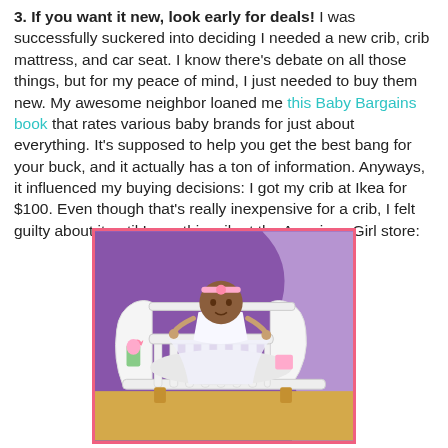3. If you want it new, look early for deals! I was successfully suckered into deciding I needed a new crib, crib mattress, and car seat. I know there's debate on all those things, but for my peace of mind, I just needed to buy them new. My awesome neighbor loaned me this Baby Bargains book that rates various baby brands for just about everything. It's supposed to help you get the best bang for your buck, and it actually has a ton of information. Anyways, it influenced my buying decisions: I got my crib at Ikea for $100. Even though that's really inexpensive for a crib, I felt guilty about it until I saw this crib at the American Girl store:
[Figure (photo): A baby doll dressed in white sitting in a white sleigh-style crib with pink and purple decorative accents, purple curtain backdrop, at the American Girl store.]